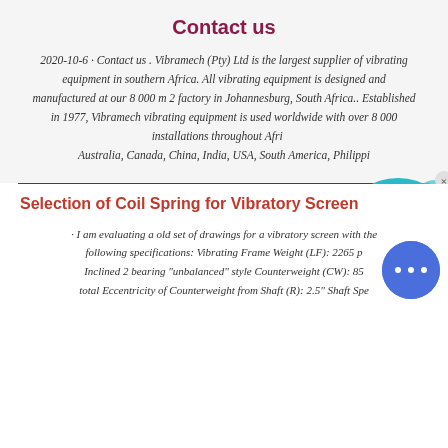Contact us
2020-10-6 · Contact us . Vibramech (Pty) Ltd is the largest supplier of vibrating equipment in southern Africa. All vibrating equipment is designed and manufactured at our 8 000 m 2 factory in Johannesburg, South Africa.. Established in 1977, Vibramech vibrating equipment is used worldwide with over 8 000 installations throughout Africa, Australia, Canada, China, India, USA, South America, Philippines,
[Figure (illustration): Live Chat bubble icon in teal/blue color with text 'Live Chat' and an X close button]
Selection of Coil Spring for Vibratory Screen
· I am evaluating a old set of drawings for a vibratory screen with the following specifications: Vibrating Frame Weight (LF): 2265 p... Inclined 2 bearing "unbalanced" style Counterweight (CW): 85... total Eccentricity of Counterweight from Shaft (R): 2.5" Shaft Spe...
[Figure (illustration): Blue circular chat button with three dots (messenger/chat icon)]